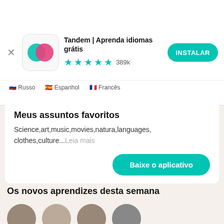[Figure (screenshot): App install banner: Tandem | Aprenda idiomas grátis app icon (teal and pink overlapping speech bubbles), 4.5 star rating with 389k reviews, and INSTALAR button]
Tandem | Aprenda idiomas grátis
★★★★½ 389k
Russo · Espanhol · Francês
Meus assuntos favoritos
Science,art,music,movies,natura,languages,clothes,culture...Leia mais
Baixe o aplicativo
Os novos aprendizes desta semana
[Figure (photo): Four circular avatar photos of new learners this week, partially visible at the bottom of the page]